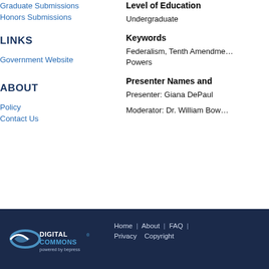Graduate Submissions
Honors Submissions
LINKS
Government Website
ABOUT
Policy
Contact Us
Level of Education
Undergraduate
Keywords
Federalism, Tenth Amendment, Reserved Powers
Presenter Names and
Presenter: Giana DePaul
Moderator: Dr. William Bowe
Home | About | FAQ | Privacy Copyright — Digital Commons powered by bepress